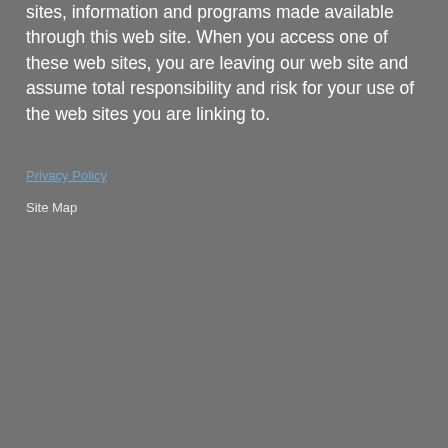sites, information and programs made available through this web site. When you access one of these web sites, you are leaving our web site and assume total responsibility and risk for your use of the web sites you are linking to.
Privacy Policy
Site Map